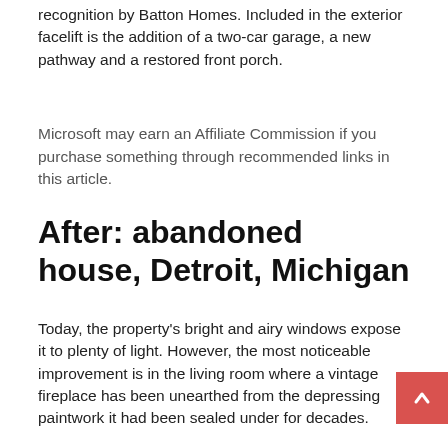recognition by Batton Homes. Included in the exterior facelift is the addition of a two-car garage, a new pathway and a restored front porch.
Microsoft may earn an Affiliate Commission if you purchase something through recommended links in this article.
After: abandoned house, Detroit, Michigan
Today, the property's bright and airy windows expose it to plenty of light. However, the most noticeable improvement is in the living room where a vintage fireplace has been unearthed from the depressing paintwork it had been sealed under for decades.